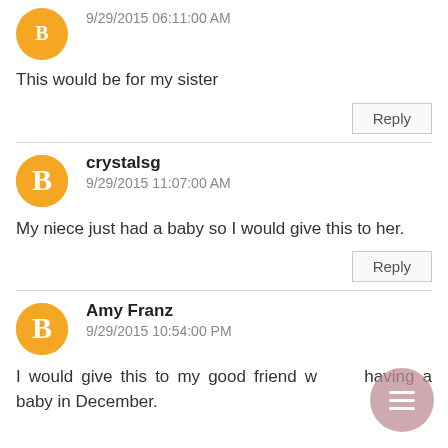9/29/2015 06:11:00 AM
This would be for my sister
Reply
crystalsg
9/29/2015 11:07:00 AM
My niece just had a baby so I would give this to her.
Reply
Amy Franz
9/29/2015 10:54:00 PM
I would give this to my good friend who is having a baby in December.